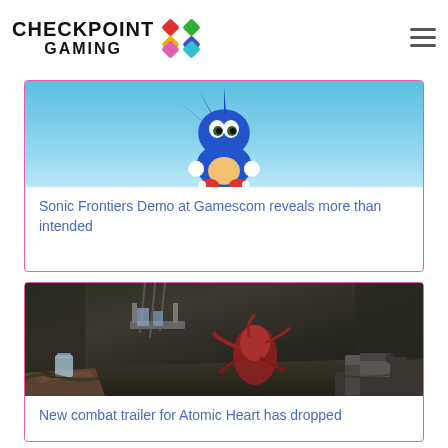Checkpoint Gaming
[Figure (screenshot): Sonic the Hedgehog character partially visible at top of card, with blue sky background]
Sonic Frontiers Demo at Gamescom reveals more than intended
[Figure (screenshot): First-person view of player holding a glass object facing a dark reddish creature in a ruined outdoor environment, with a gun visible on the right side]
New combat trailer for Atomic Heart has dropped
[Figure (photo): Partially visible card with orange border, no image loaded]